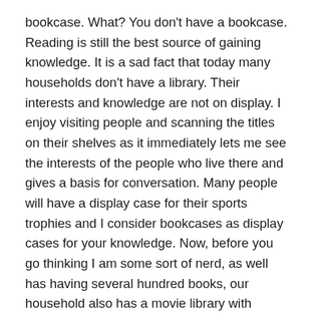bookcase.  What? You don't have a bookcase.  Reading is still the best source of gaining knowledge.  It is a sad fact that today many households don't have a library.  Their interests and knowledge are not on display.  I enjoy visiting people and scanning the titles on their shelves as it immediately lets me see the interests of the people who live there and gives a basis for conversation.  Many people will have a display case for their sports trophies and I consider bookcases as display cases for your knowledge.  Now, before you go thinking I am some sort of nerd, as well has having several hundred books, our household also has a movie library with several hundred movies.  Display your interests and talk about your interests.
Do things and show your child how you do things